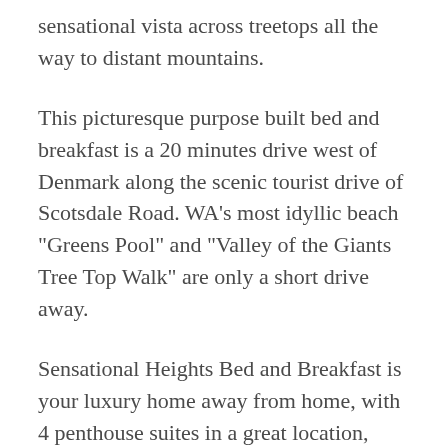sensational vista across treetops all the way to distant mountains.
This picturesque purpose built bed and breakfast is a 20 minutes drive west of Denmark along the scenic tourist drive of Scotsdale Road. WA's most idyllic beach "Greens Pool" and "Valley of the Giants Tree Top Walk" are only a short drive away.
Sensational Heights Bed and Breakfast is your luxury home away from home, with 4 penthouse suites in a great location, attention to detail with your privacy and